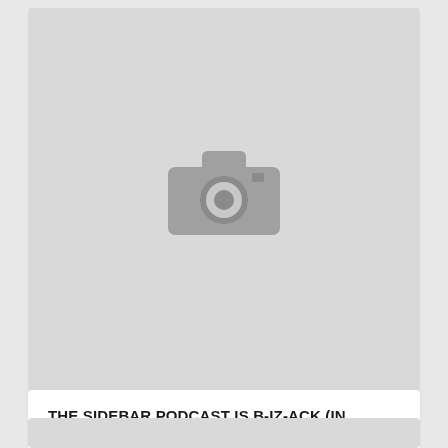[Figure (photo): Placeholder image card with a grey background and a camera icon in the center, representing a missing or loading image thumbnail]
THE SIDEBAR PODCAST IS B-IZ-ACK (IN ITUNES)
November 13, 2013
[Figure (photo): Partial second placeholder image card with grey background, cropped at bottom of page]